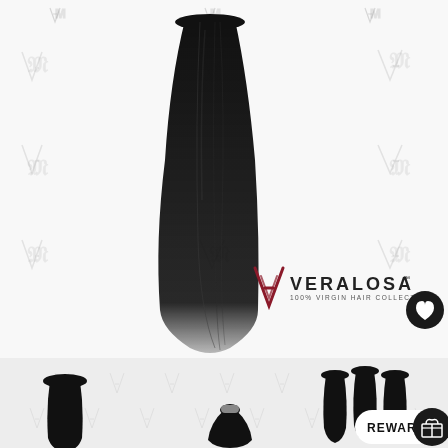[Figure (photo): A long straight black hair extension/bundle displayed vertically against a white background with repeating Veralosa logo watermarks. In the lower right of the main image is the Veralosa brand logo (a stylized M/V mark in dark red) with text 'VERALOSA' and '100% VIRGIN HAIR COLLECTION'. A black circular heart/wishlist button appears on the right side. The bottom strip shows smaller product photos of hair bundles, and a 'REWARDS' button bar in lower right.]